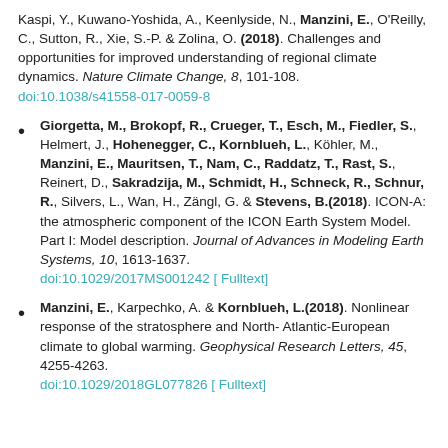Kaspi, Y., Kuwano-Yoshida, A., Keenlyside, N., Manzini, E., O'Reilly, C., Sutton, R., Xie, S.-P. & Zolina, O. (2018). Challenges and opportunities for improved understanding of regional climate dynamics. Nature Climate Change, 8, 101-108. doi:10.1038/s41558-017-0059-8
Giorgetta, M., Brokopf, R., Crueger, T., Esch, M., Fiedler, S., Helmert, J., Hohenegger, C., Kornblueh, L., Köhler, M., Manzini, E., Mauritsen, T., Nam, C., Raddatz, T., Rast, S., Reinert, D., Sakradzija, M., Schmidt, H., Schneck, R., Schnur, R., Silvers, L., Wan, H., Zängl, G. & Stevens, B.(2018). ICON-A: the atmospheric component of the ICON Earth System Model. Part I: Model description. Journal of Advances in Modeling Earth Systems, 10, 1613-1637. doi:10.1029/2017MS001242 [ Fulltext]
Manzini, E., Karpechko, A. & Kornblueh, L.(2018). Nonlinear response of the stratosphere and North-Atlantic-European climate to global warming. Geophysical Research Letters, 45, 4255-4263. doi:10.1029/2018GL077826 [ Fulltext]